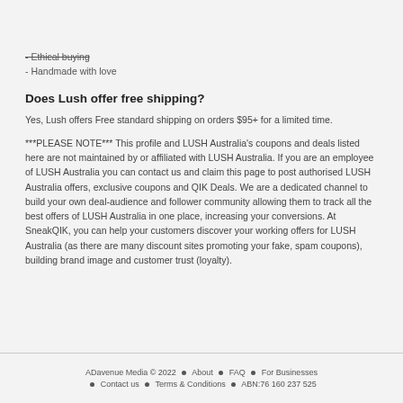- Ethical buying
- Handmade with love
Does Lush offer free shipping?
Yes, Lush offers Free standard shipping on orders $95+ for a limited time.
***PLEASE NOTE*** This profile and LUSH Australia's coupons and deals listed here are not maintained by or affiliated with LUSH Australia. If you are an employee of LUSH Australia you can contact us and claim this page to post authorised LUSH Australia offers, exclusive coupons and QIK Deals. We are a dedicated channel to build your own deal-audience and follower community allowing them to track all the best offers of LUSH Australia in one place, increasing your conversions. At SneakQIK, you can help your customers discover your working offers for LUSH Australia (as there are many discount sites promoting your fake, spam coupons), building brand image and customer trust (loyalty).
ADavenue Media © 2022  •  About  •  FAQ  •  For Businesses  •  Contact us  •  Terms & Conditions  •  ABN:76 160 237 525